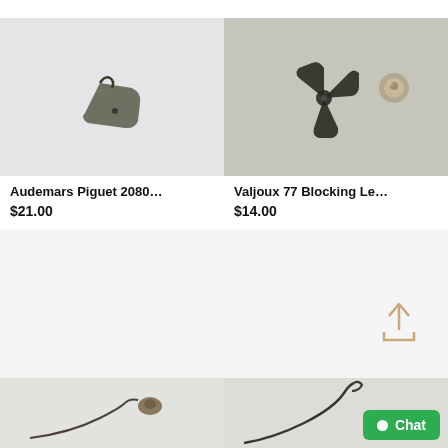[Figure (photo): Watch part - Audemars Piguet 2080 component, small triangular metal piece on white background]
Audemars Piguet 2080…
$21.00
[Figure (photo): Watch part - Valjoux 77 Blocking Lever components: dark metal three-pronged piece and small round silver piece on light grey background]
Valjoux 77 Blocking Le…
$14.00
[Figure (photo): Partial view - watch spring part, small curved metal piece with round end on white background]
[Figure (photo): Partial view - thin curved metal spring or lever part on white background]
Chat